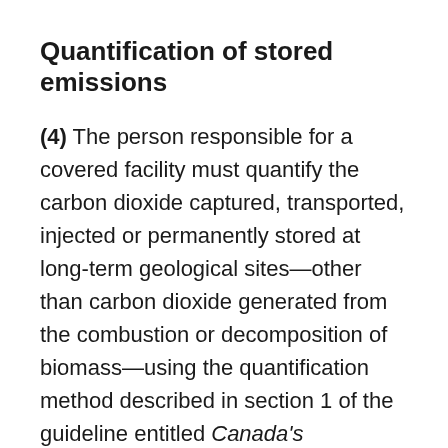Quantification of stored emissions
(4) The person responsible for a covered facility must quantify the carbon dioxide captured, transported, injected or permanently stored at long-term geological sites—other than carbon dioxide generated from the combustion or decomposition of biomass—using the quantification method described in section 1 of the guideline entitled Canada's Greenhouse Gas Quantification Requirements, published by the Department of the Environment in 2017.